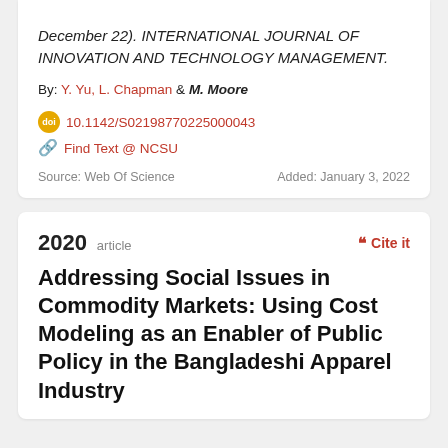December 22). INTERNATIONAL JOURNAL OF INNOVATION AND TECHNOLOGY MANAGEMENT.
By: Y. Yu, L. Chapman & M. Moore
10.1142/S02198770225000043
Find Text @ NCSU
Source: Web Of Science    Added: January 3, 2022
2020 article
Addressing Social Issues in Commodity Markets: Using Cost Modeling as an Enabler of Public Policy in the Bangladeshi Apparel Industry